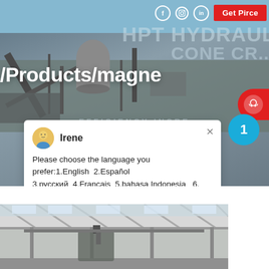[Figure (screenshot): Industrial crushing equipment facility hero banner with social media icons, Get Price button, and URL path overlay reading /Products/magne. An HPT Hydraulic Cone Crusher text visible in background.]
Irene
Please choose the language you prefer:1.English  2.Español 3.русский  4.Français  5.bahasa Indonesia   6. عربسعربي
[Figure (photo): Interior of an industrial factory or workshop showing structural steel beams and roof, with heavy machinery visible.]